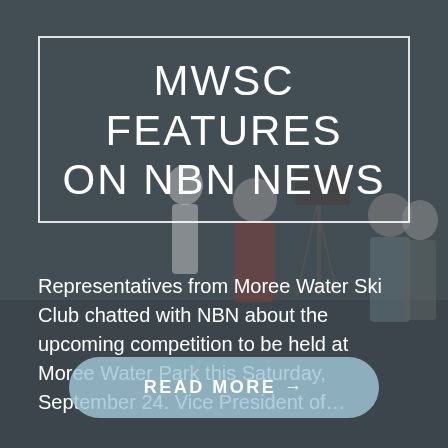[Figure (photo): Dark-toned outdoor photo of people with a TV camera on a tripod near water, with a dark semi-transparent overlay covering the entire image.]
MWSC FEATURES ON NBN NEWS
Representatives from Moree Water Ski Club chatted with NBN about the upcoming competition to be held at Moree Water Park this Saturday, September 24. Vice President of…
READ MORE →